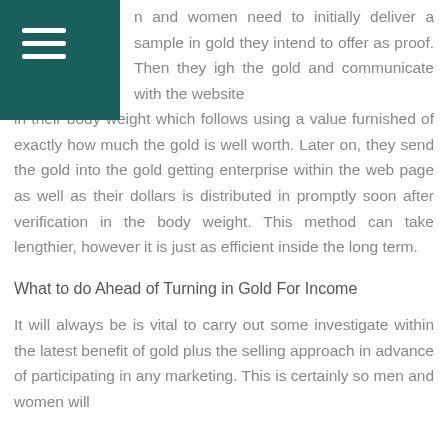n and women need to initially deliver a sample in gold they intend to offer as proof. Then they igh the gold and communicate with the website in their body weight which follows using a value furnished of exactly how much the gold is well worth. Later on, they send the gold into the gold getting enterprise within the web page as well as their dollars is distributed in promptly soon after verification in the body weight. This method can take lengthier, however it is just as efficient inside the long term.
What to do Ahead of Turning in Gold For Income
It will always be is vital to carry out some investigate within the latest benefit of gold plus the selling approach in advance of participating in any marketing. This is certainly so men and women will